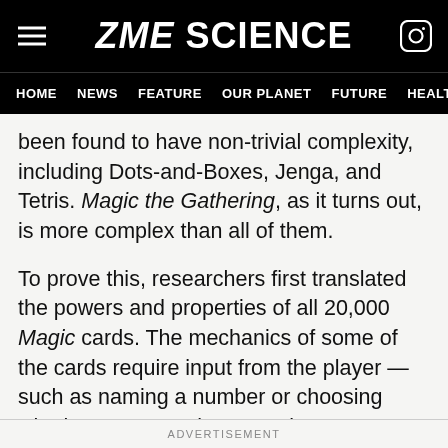ZME SCIENCE
HOME  NEWS  FEATURE  OUR PLANET  FUTURE  HEALT
been found to have non-trivial complexity, including Dots-and-Boxes, Jenga, and Tetris. Magic the Gathering, as it turns out, is more complex than all of them.
To prove this, researchers first translated the powers and properties of all 20,000 Magic cards. The mechanics of some of the cards require input from the player — such as naming a number or choosing whether or not to play an action. At some point the study reads:
ADVERTISEMENT